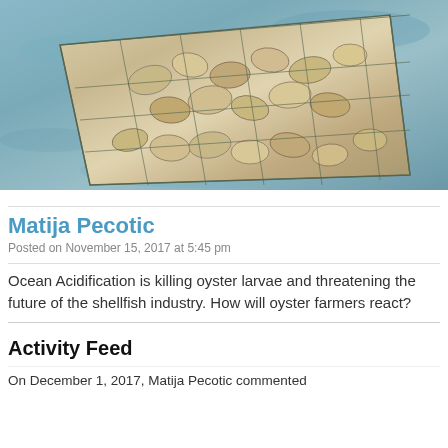[Figure (photo): Photograph of oysters in a wire mesh cage/basket floating in water, viewed from above at an angle.]
Matija Pecotic
Posted on November 15, 2017 at 5:45 pm
Ocean Acidification is killing oyster larvae and threatening the future of the shellfish industry. How will oyster farmers react?
Activity Feed
On December 1, 2017, Matija Pecotic commented